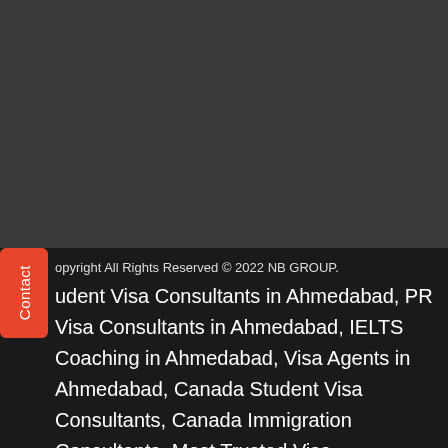[Figure (screenshot): Dark gray background top section of a webpage]
Copyright All Rights Reserved © 2022 NB GROUP. Student Visa Consultants in Ahmedabad, PR Visa Consultants in Ahmedabad, IELTS Coaching in Ahmedabad, Visa Agents in Ahmedabad, Canada Student Visa Consultants, Canada Immigration Consultants, Most Trusted Visa Consultants